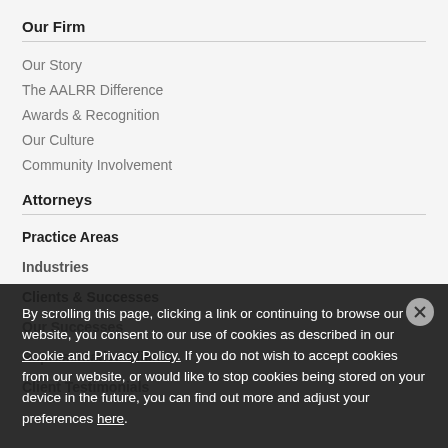Our Firm
Our Story
The AALRR Difference
Awards & Recognition
Our Culture
Community Involvement
Attorneys
Practice Areas
Industries
Clients & Successes
Our Successes
Representative Clients
Client Testimonials
By scrolling this page, clicking a link or continuing to browse our website, you consent to our use of cookies as described in our Cookie and Privacy Policy. If you do not wish to accept cookies from our website, or would like to stop cookies being stored on your device in the future, you can find out more and adjust your preferences here.